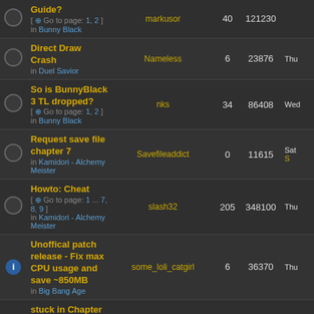|  | Topic | Author | Replies | Views | Last Post |
| --- | --- | --- | --- | --- | --- |
|  | Guide? [Go to page: 1, 2] in Bunny Black | markusor | 40 | 121230 |  |
|  | Direct Draw Crash in Duel Savior | Nameless | 6 | 23876 | Thu |
|  | So is BunnyBlack 3 TL dropped? [Go to page: 1, 2] in Bunny Black | nks | 34 | 86408 | Wed |
|  | Request save file chapter 7 in Kamidori - Alchemy Meister | Savefileaddict | 0 | 11615 | Sat |
|  | Howto: Cheat [Go to page: 1 ... 7, 8, 9] in Kamidori - Alchemy Meister | slash32 | 205 | 348100 | Thu |
| info | Unoffical patch release - Fix max CPU usage and save ~850MB in Big Bang Age | some_loli_catgirl | 6 | 36370 | Thu |
|  | stuck in Chapter 6 Serawi's route in Kamidori - Alchemy Meister | SymphonyOfTheAFKLord | 0 | 9380 | Fri SymphonyOfTheAFKLord |
|  | Will we ever see |  |  |  |  |